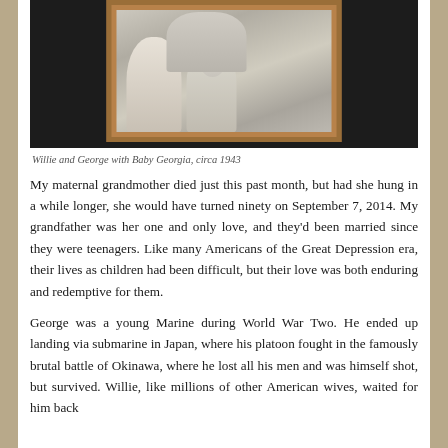[Figure (photo): A framed photograph of Willie and George with Baby Georgia, showing two adults and a baby in a wooden frame, set against a dark background.]
Willie and George with Baby Georgia, circa 1943
My maternal grandmother died just this past month, but had she hung in a while longer, she would have turned ninety on September 7, 2014. My grandfather was her one and only love, and they'd been married since they were teenagers. Like many Americans of the Great Depression era, their lives as children had been difficult, but their love was both enduring and redemptive for them.
George was a young Marine during World War Two. He ended up landing via submarine in Japan, where his platoon fought in the famously brutal battle of Okinawa, where he lost all his men and was himself shot, but survived. Willie, like millions of other American wives, waited for him back